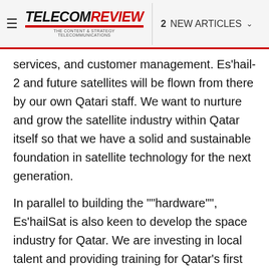≡ TELECOM Review | 2 NEW ARTICLES
services, and customer management. Es'hail-2 and future satellites will be flown from there by our own Qatari staff. We want to nurture and grow the satellite industry within Qatar itself so that we have a solid and sustainable foundation in satellite technology for the next generation.
In parallel to building the ""hardware"", Es'hailSat is also keen to develop the space industry for Qatar. We are investing in local talent and providing training for Qatar's first generation of satellite engineers, and in our future generation of engineers by way of investment in their education.
What is Es'hailSat's relationship with the major television conglomerates in the country such as Al Jazeera and beIN? Did they ever since contribute...